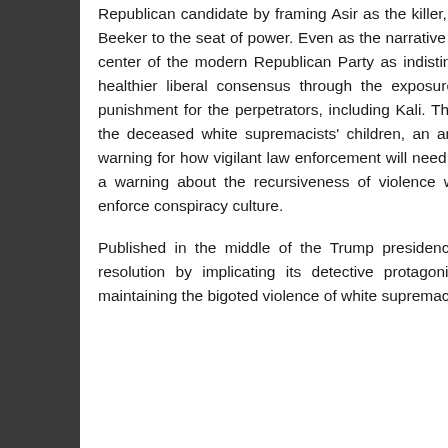Republican candidate by framing Asir as the killer, stoking Islamophobic bigotry, and carrying Shelly Beeker to the seat of power. Even as the narrative accurately and predictively renders the fringe and center of the modern Republican Party as indistinguishable, the resolution returns the reader to a healthier liberal consensus through the exposure of the conspiracy and a promise of carceral punishment for the perpetrators, including Kali. The final page shows the embittered face of one of the deceased white supremacists' children, an ambivalent ending that could be read either as a warning for how vigilant law enforcement will need to remain to maintain this liberal consensus or as a warning about the recursiveness of violence when counterinsurgency techniques are used to enforce conspiracy culture.
Published in the middle of the Trump presidency, American Carnage complicates Right State's resolution by implicating its detective protagonist in the violence of the carceral state while maintaining the bigoted violence of white supremacist